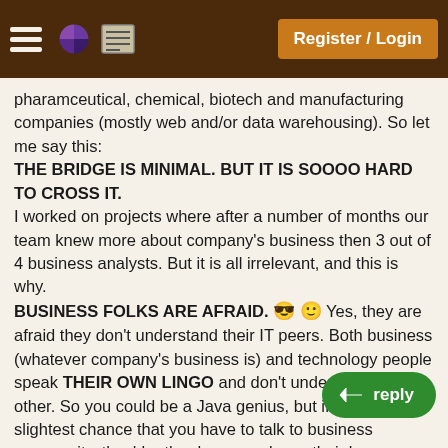Register / Login
pharamceutical, chemical, biotech and manufacturing companies (mostly web and/or data warehousing). So let me say this:
THE BRIDGE IS MINIMAL. BUT IT IS SOOOO HARD TO CROSS IT.
I worked on projects where after a number of months our team knew more about company's business then 3 out of 4 business analysts. But it is all irrelevant, and this is why.
BUSINESS FOLKS ARE AFRAID. 😎🙂 Yes, they are afraid they don't understand their IT peers. Both business (whatever company's business is) and technology people speak THEIR OWN LINGO and don't understand each other. So you could be a Java genius, but if there's a slightest chance that you have to talk to business community, they'd rather have you know their language then learn yours. HENCE, BUSINESS KNOWLEDGE REQUIREMENTS.
My personal experience says that if you are a Project Lead or Architech, or have to understand business